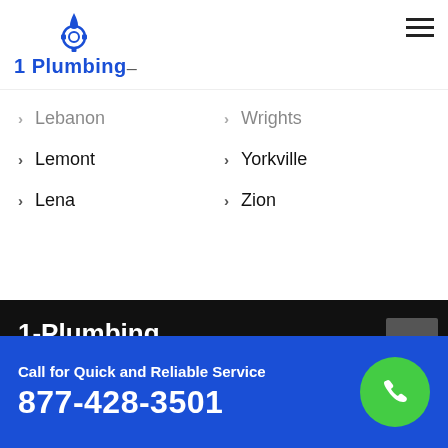[Figure (logo): 1 Plumbing logo with blue droplet/gear icon and blue text]
Lebanon
Wrights
Lemont
Yorkville
Lena
Zion
1-Plumbing
1-Plumbing is a network of licensed and insured plumbing companies serving as 24-hour plumbers ana
Call for Quick and Reliable Service
877-428-3501